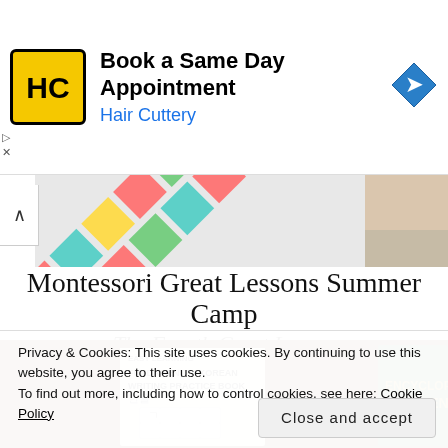[Figure (infographic): Hair Cuttery advertisement banner with yellow HC logo, text 'Book a Same Day Appointment' and 'Hair Cuttery', and a blue diamond navigation arrow icon]
[Figure (photo): Colorful sticky notes arranged in a diagonal diamond pattern on a board]
Montessori Great Lessons Summer Camp
The Fourth Great Lesson
[Figure (photo): Books on a shelf including 'Easy Learning Fundamental Korean Writing Practice Book' and 'Encyclopedia Ancient']
Privacy & Cookies: This site uses cookies. By continuing to use this website, you agree to their use.
To find out more, including how to control cookies, see here: Cookie Policy
Close and accept